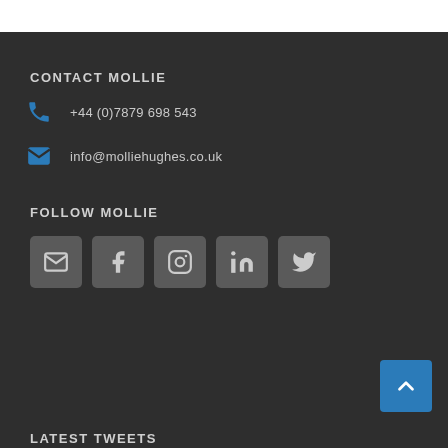CONTACT MOLLIE
+44 (0)7879 698 543
info@molliehughes.co.uk
FOLLOW MOLLIE
[Figure (other): Five social media icon buttons: email, Facebook, Instagram, LinkedIn, Twitter]
[Figure (other): Back to top button with upward chevron arrow]
LATEST TWEETS